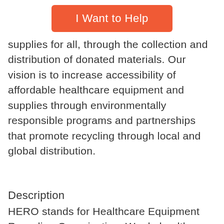[Figure (other): Orange button labeled 'I Want to Help']
supplies for all, through the collection and distribution of donated materials. Our vision is to increase accessibility of affordable healthcare equipment and supplies through environmentally responsible programs and partnerships that promote recycling through local and global distribution.
Description
HERO stands for Healthcare Equipment Recycling Organization. We do healthcare supplies. Affordably.
HERO offers low cost medical equipment and supplies. We offer walkers, wheelchairs, crutches, shower